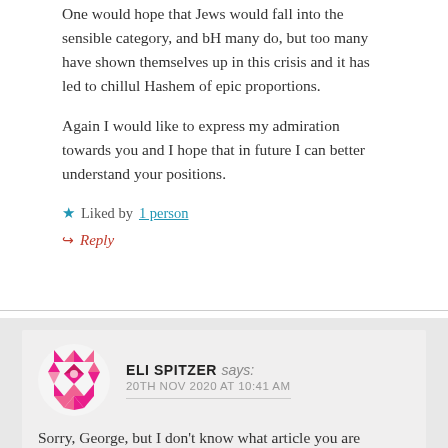One would hope that Jews would fall into the sensible category, and bH many do, but too many have shown themselves up in this crisis and it has led to chillul Hashem of epic proportions.
Again I would like to express my admiration towards you and I hope that in future I can better understand your positions.
★ Liked by 1 person
↪ Reply
ELI SPITZER says: 20TH NOV 2020 AT 10:41 AM
Sorry, George, but I don't know what article you are reading. I haven't denied science. I haven't